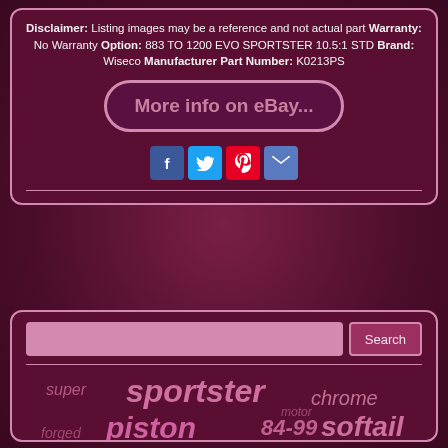Disclaimer: Listing images may be a reference and not actual part Warranty: No Warranty Option: 883 TO 1200 EVO SPORTSTER 10.5:1 STD Brand: Wiseco Manufacturer Part Number: K0213PS
[Figure (other): eBay button link styled as rounded pill with text 'More info on eBay...']
[Figure (other): Social media share icons: Facebook (blue), Twitter (blue), Pinterest (red), Email (blue envelope)]
[Figure (other): Search bar with input field and Search button]
sportster  super  chrome  motor  piston  84-99  softail  forged  cometic  bore  cast  84-98